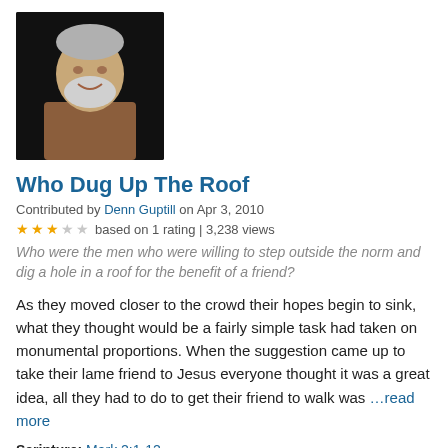[Figure (photo): Portrait photo of an older man with white/gray beard and hair, wearing a brown jacket, against a dark background]
Who Dug Up The Roof
Contributed by Denn Guptill on Apr 3, 2010
★★★☆☆ based on 1 rating | 3,238 views
Who were the men who were willing to step outside the norm and dig a hole in a roof for the benefit of a friend?
As they moved closer to the crowd their hopes begin to sink, what they thought would be a fairly simple task had taken on monumental proportions. When the suggestion came up to take their lame friend to Jesus everyone thought it was a great idea, all they had to do to get their friend to walk was …read more
Scripture: Mark 2:1-12
Denomination: Wesleyan
[Figure (photo): Partial portrait photo of another person, cropped at bottom of page, against a dark background]